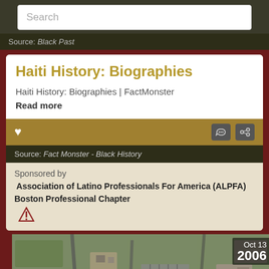Search
Source: Black Past
Haiti History: Biographies
Haiti History: Biographies | FactMonster
Read more
Source: Fact Monster - Black History
Sponsored by Association of Latino Professionals For America (ALPFA) Boston Professional Chapter
[Figure (photo): Aerial photograph of a campus or suburban area dated Oct 13 2006]